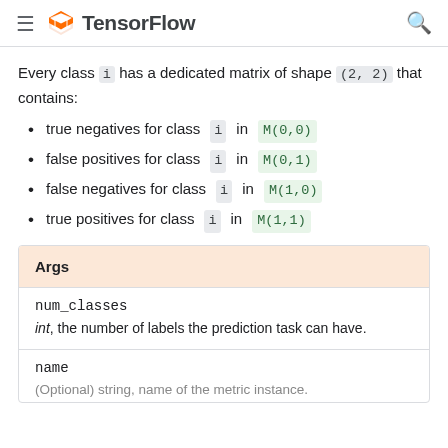TensorFlow
Every class i has a dedicated matrix of shape (2, 2) that contains:
true negatives for class i in M(0,0)
false positives for class i in M(0,1)
false negatives for class i in M(1,0)
true positives for class i in M(1,1)
Args
num_classes
int, the number of labels the prediction task can have.
name
(Optional) string, name of the metric instance.